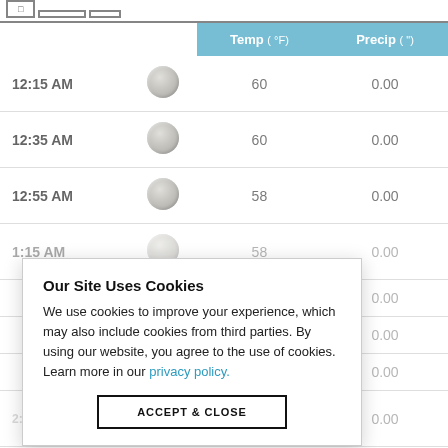|  | icon | Temp (°F) | Precip (") |
| --- | --- | --- | --- |
| 12:15 AM |  | 60 | 0.00 |
| 12:35 AM |  | 60 | 0.00 |
| 12:55 AM |  | 58 | 0.00 |
| 1:15 AM |  | 58 | 0.00 |
| 1:35 AM |  |  | 0.00 |
| 1:55 AM |  |  | 0.00 |
| 2:15 AM |  |  | 0.00 |
| 2:35 AM |  | 55 | 0.00 |
[Figure (screenshot): Cookie consent modal overlay reading 'Our Site Uses Cookies. We use cookies to improve your experience, which may also include cookies from third parties. By using our website, you agree to the use of cookies. Learn more in our privacy policy.' with an ACCEPT & CLOSE button.]